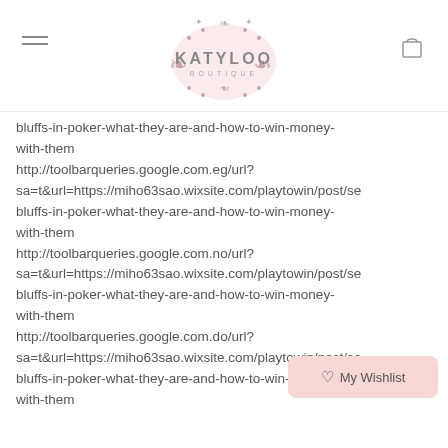Katyloo Boutique
bluffs-in-poker-what-they-are-and-how-to-win-money-with-them http://toolbarqueries.google.com.eg/url?sa=t&url=https://miho63sao.wixsite.com/playtowin/post/se bluffs-in-poker-what-they-are-and-how-to-win-money-with-them http://toolbarqueries.google.com.no/url?sa=t&url=https://miho63sao.wixsite.com/playtowin/post/se bluffs-in-poker-what-they-are-and-how-to-win-money-with-them http://toolbarqueries.google.com.do/url?sa=t&url=https://miho63sao.wixsite.com/playtowin/post/se bluffs-in-poker-what-they-are-and-how-to-win-money-with-them